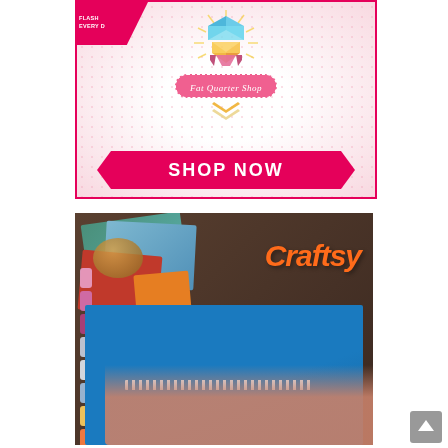[Figure (illustration): Fat Quarter Shop advertisement with colorful gem/quilt block logo, 'Fat Quarter Shop' script brand name, pink polka-dot background, and a large pink ribbon banner reading 'SHOP NOW'. Top-left corner has a pink diagonal banner with 'FLASH SALE EVERY DAY' text.]
[Figure (photo): Craftsy advertisement showing a crafting scene on a wooden table: colorful fabric pieces, thread spools, a wicker basket, and hands sewing lace trim onto blue fabric. The 'Craftsy' logo in large orange italic text overlays the upper right.]